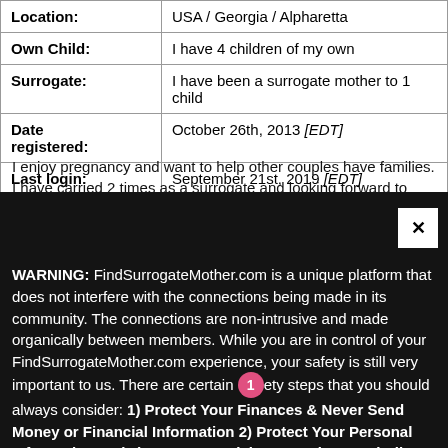| Field | Value |
| --- | --- |
| Location: | USA / Georgia / Alpharetta |
| Own Child: | I have 4 children of my own |
| Surrogate: | I have been a surrogate mother to 1 child |
| Date registered: | October 26th, 2013 [EDT] |
| Last login: | September 21st, 2019 [EDT] |
I enjoy pregnancy and want to help other couples have families. I have carried 2 times as a surrogate and looking forward to doing it
WARNING: FindSurrogateMother.com is a unique platform that does not interfere with the connections being made in its community. The connections are non-intrusive and made organically between members. While you are in control of your FindSurrogateMother.com experience, your safety is still very important to us. There are certain safety steps that you should always consider: 1) Protect Your Finances & Never Send Money or Financial Information 2) Protect Your Personal Information and 3) Report Suspicious Members and All Suspicious Behavior. You are always the best judge of your own safety, these guidelines are not intended to be a substitute for your own judgment.